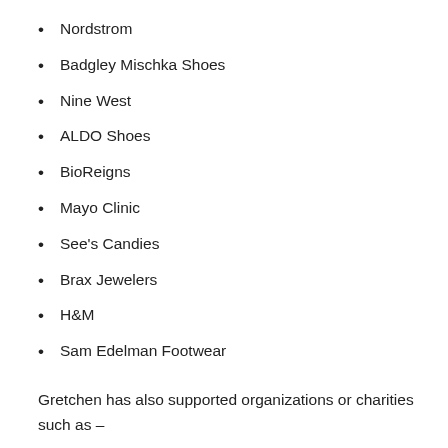Nordstrom
Badgley Mischka Shoes
Nine West
ALDO Shoes
BioReigns
Mayo Clinic
See's Candies
Brax Jewelers
H&M
Sam Edelman Footwear
Gretchen has also supported organizations or charities such as –